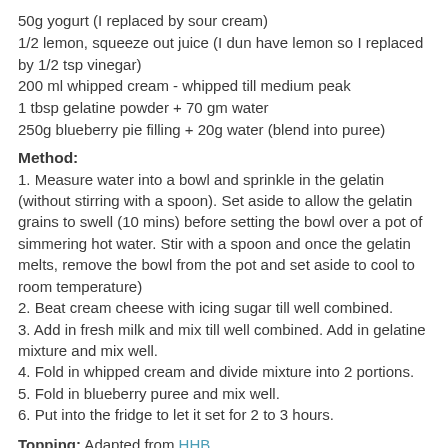50g yogurt (I replaced by sour cream)
1/2 lemon, squeeze out juice (I dun have lemon so I replaced by 1/2 tsp vinegar)
200 ml whipped cream - whipped till medium peak
1 tbsp gelatine powder + 70 gm water
250g blueberry pie filling + 20g water (blend into puree)
Method:
1. Measure water into a bowl and sprinkle in the gelatin (without stirring with a spoon). Set aside to allow the gelatin grains to swell (10 mins) before setting the bowl over a pot of simmering hot water. Stir with a spoon and once the gelatin melts, remove the bowl from the pot and set aside to cool to room temperature)
2. Beat cream cheese with icing sugar till well combined.
3. Add in fresh milk and mix till well combined. Add in gelatine mixture and mix well.
4. Fold in whipped cream and divide mixture into 2 portions.
5. Fold in blueberry puree and mix well.
6. Put into the fridge to let it set for 2 to 3 hours.
Topping: Adapted from HHB